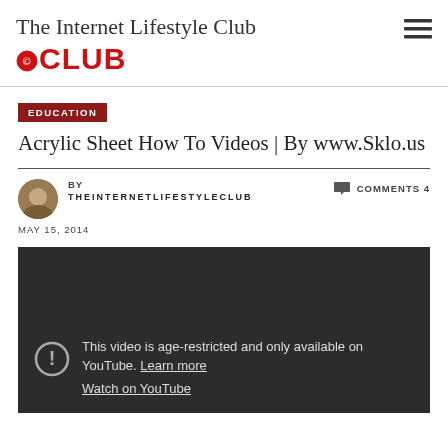The Internet Lifestyle Club CLUB
EDUCATION
Acrylic Sheet How To Videos | By www.Sklo.us
BY THEINTERNETLIFESTYLECLUB   COMMENTS 4   MAY 15, 2014
[Figure (screenshot): Embedded YouTube video showing age-restriction message: 'This video is age-restricted and only available on YouTube. Learn more. Watch on YouTube.']